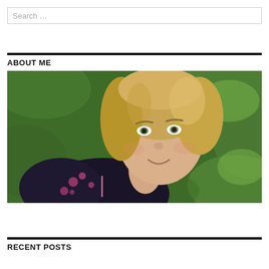Search …
ABOUT ME
[Figure (photo): Selfie photo of a blonde woman smiling, wearing a dark floral top, taken outdoors with green grass in the background.]
RECENT POSTS